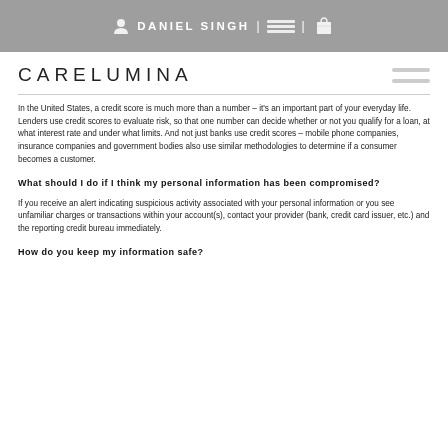DANIEL SINGH |  |
CARELUMINA
In the United States, a credit score is much more than a number – it's an important part of your everyday life. Lenders use credit scores to evaluate risk, so that one number can decide whether or not you qualify for a loan, at what interest rate and under what limits. And not just banks use credit scores – mobile phone companies, insurance companies and government bodies also use similar methodologies to determine if a consumer becomes a customer.
What should I do if I think my personal information has been compromised?
If you receive an alert indicating suspicious activity associated with your personal information or you see unfamiliar charges or transactions within your account(s), contact your provider (bank, credit card issuer, etc.) and the reporting credit bureau immediately.
How do you keep my information safe?